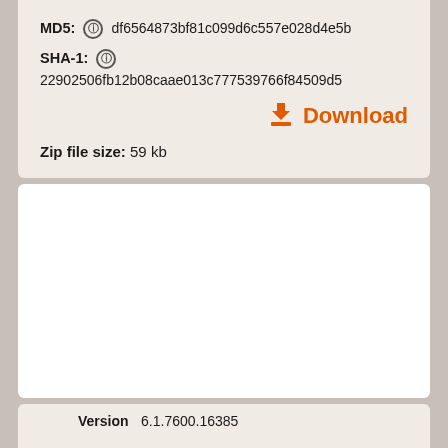MD5: df6564873bf81c099d6c557e028d4e5b
SHA-1: 22902506fb12b08caae013c777539766f84509d5
Download
Zip file size: 59 kb
Version 6.1.7600.16385